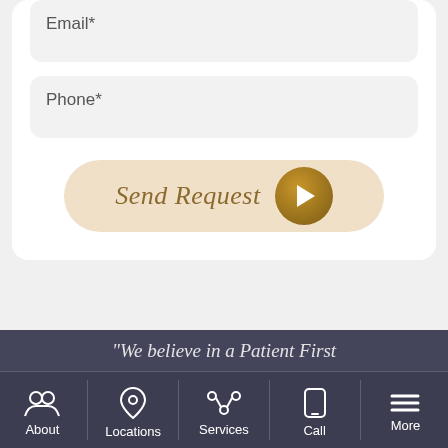Email*
Phone*
[Figure (screenshot): Send Request button with arrow icon]
"We believe in a Patient First
About | Locations | Services | Call | More